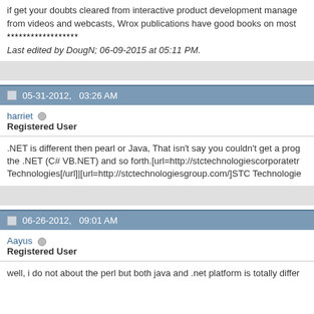if get your doubts cleared from interactive product development manage from videos and webcasts, Wrox publications have good books on most
******************
Last edited by DougN; 06-09-2015 at 05:11 PM.
05-31-2012, 03:26 AM
harriet
Registered User
.NET is different then pearl or Java, That isn't say you couldn't get a prog the .NET (C# VB.NET) and so forth.[url=http://stctechnologiescorporatetr Technologies[/url]|[url=http://stctechnologiesgroup.com/]STC Technologie
06-26-2012, 09:01 AM
Aayus
Registered User
well, i do not about the perl but both java and .net platform is totally differ